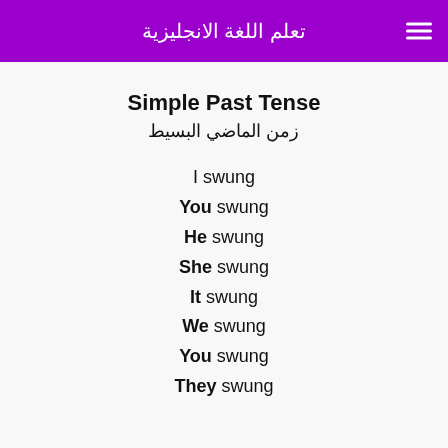تعلم اللغة الانجليزية
Simple Past Tense
زمن الماضي البسيط
I swung
You swung
He swung
She swung
It swung
We swung
You swung
They swung